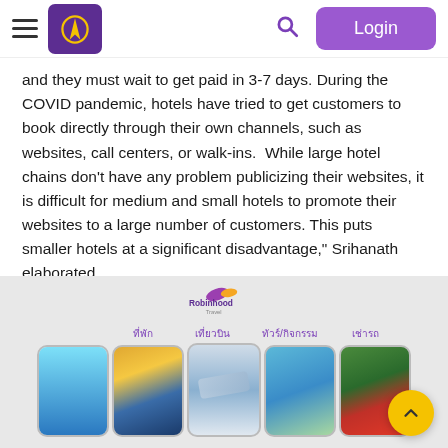Robinhood website header with hamburger menu, logo, search icon, and Login button
and they must wait to get paid in 3-7 days. During the COVID pandemic, hotels have tried to get customers to book directly through their own channels, such as websites, call centers, or walk-ins.  While large hotel chains don't have any problem publicizing their websites, it is difficult for medium and small hotels to promote their websites to a large number of customers. This puts smaller hotels at a significant disadvantage," Srihanath elaborated.
[Figure (screenshot): Robinhood Travel app promotional screenshot showing the Robinhood Travel logo and five phone mockups with category labels: ที่พัก (accommodation), เที่ยวบิน (flights), ทัวร์/กิจกรรม (tours/activities), เช่ารถ (car rental)]